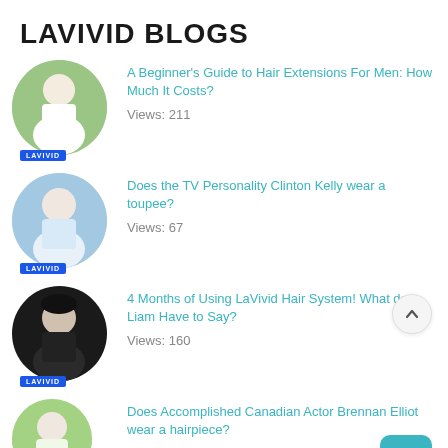LAVIVID BLOGS
A Beginner's Guide to Hair Extensions For Men: How Much It Costs?
Views: 211
Does the TV Personality Clinton Kelly wear a toupee?
Views: 67
4 Months of Using LaVivid Hair System! What does Liam Have to Say?
Views: 160
Does Accomplished Canadian Actor Brennan Elliot wear a hairpiece?